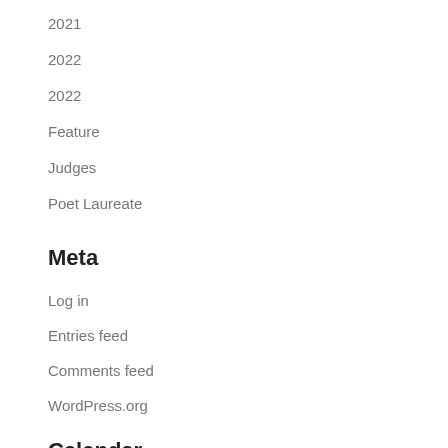2021
2022
2022
Feature
Judges
Poet Laureate
Meta
Log in
Entries feed
Comments feed
WordPress.org
Calendar